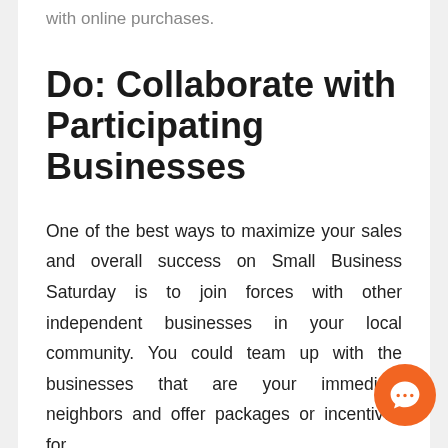with online purchases.
Do: Collaborate with Participating Businesses
One of the best ways to maximize your sales and overall success on Small Business Saturday is to join forces with other independent businesses in your local community. You could team up with the businesses that are your immediate neighbors and offer packages or incentives for